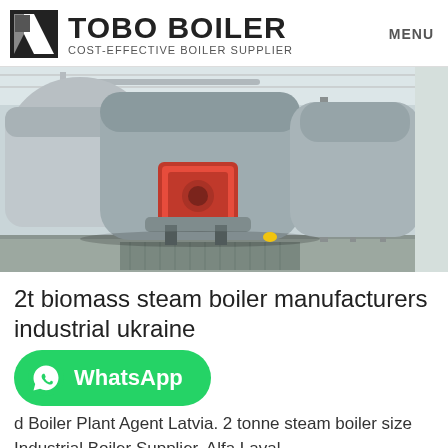TOBO BOILER COST-EFFECTIVE BOILER SUPPLIER | MENU
[Figure (photo): Industrial steam boilers inside a facility building. Two large cylindrical boilers with red and silver/grey casing, burners, and piping visible. Building has white walls and metal roof structure.]
2t biomass steam boiler manufacturers industrial ukraine
[Figure (other): WhatsApp contact button (green rounded rectangle with WhatsApp phone icon and 'WhatsApp' label)]
d Boiler Plant Agent Latvia. 2 tonne steam boiler size Industrial Boiler Supplier. Alfa Laval